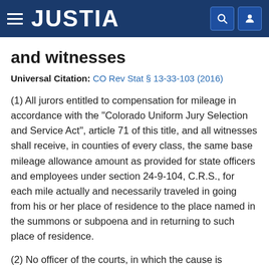JUSTIA
and witnesses
Universal Citation: CO Rev Stat § 13-33-103 (2016)
(1) All jurors entitled to compensation for mileage in accordance with the "Colorado Uniform Jury Selection and Service Act", article 71 of this title, and all witnesses shall receive, in counties of every class, the same base mileage allowance amount as provided for state officers and employees under section 24-9-104, C.R.S., for each mile actually and necessarily traveled in going from his or her place of residence to the place named in the summons or subpoena and in returning to such place of residence.
(2) No officer of the courts, in which the cause is pending and on which he is in actual attendance in his official capacity, including clerks, sheriffs, bailiffs, jurors, and